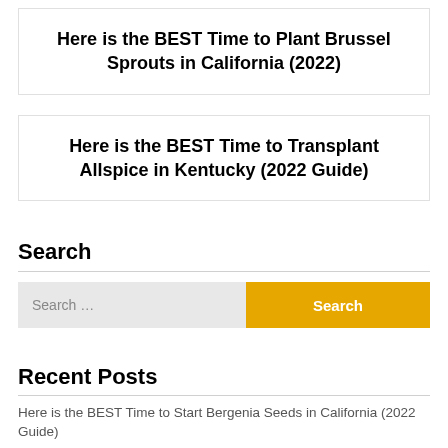Here is the BEST Time to Plant Brussel Sprouts in California (2022)
Here is the BEST Time to Transplant Allspice in Kentucky (2022 Guide)
Search
Recent Posts
Here is the BEST Time to Start Bergenia Seeds in California (2022 Guide)